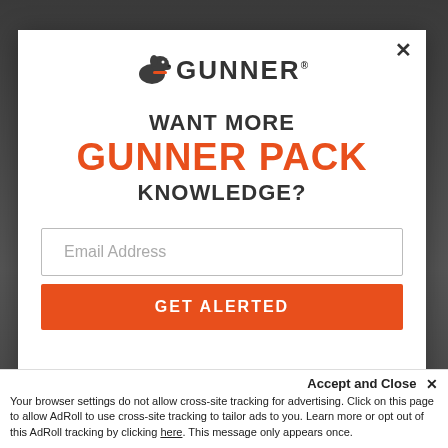[Figure (screenshot): Background photo of dark outdoor scene, partially visible behind modal]
[Figure (logo): Gunner brand logo with dog silhouette icon and bold GUNNER text]
WANT MORE GUNNER PACK KNOWLEDGE?
Email Address
GET ALERTED
Accept and Close ✕
Your browser settings do not allow cross-site tracking for advertising. Click on this page to allow AdRoll to use cross-site tracking to tailor ads to you. Learn more or opt out of this AdRoll tracking by clicking here. This message only appears once.